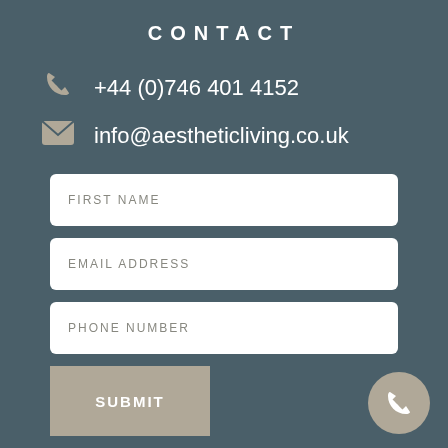CONTACT
+44 (0)746 401 4152
info@aestheticliving.co.uk
FIRST NAME
EMAIL ADDRESS
PHONE NUMBER
SUBMIT